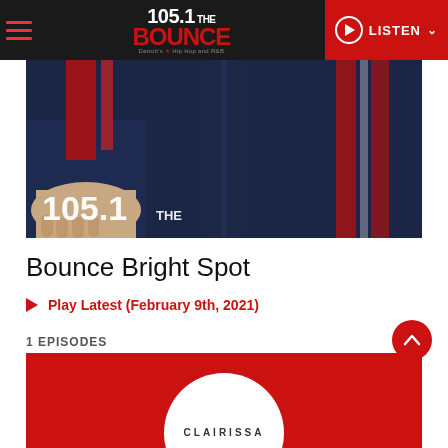105.1 THE BOUNCE — Detroit's #1 Hip Hop and R&B | LISTEN
[Figure (photo): Person wearing navy blue and red athletic tracksuit jacket, with 105.1 THE logo visible in lower left of image]
Bounce Bright Spot
Play Latest (February 9th, 2021)
1 EPISODES
[Figure (photo): Red background card with white circular element and CLAIRISSA text at bottom]